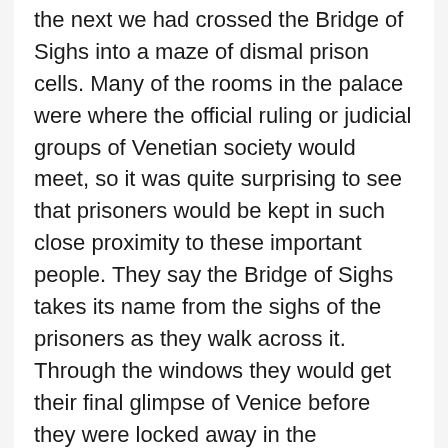the next we had crossed the Bridge of Sighs into a maze of dismal prison cells. Many of the rooms in the palace were where the official ruling or judicial groups of Venetian society would meet, so it was quite surprising to see that prisoners would be kept in such close proximity to these important people. They say the Bridge of Sighs takes its name from the sighs of the prisoners as they walk across it. Through the windows they would get their final glimpse of Venice before they were locked away in the darkened cells, causing them to sigh and reflect on what they had lost.
And perhaps the most memorable sight in Piazza San Marco for me was the winged lion atop the tall pillar. The lion appears to have been a symbol